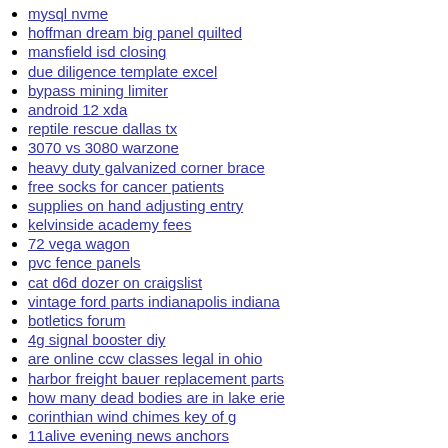mysql nvme
hoffman dream big panel quilted
mansfield isd closing
due diligence template excel
bypass mining limiter
android 12 xda
reptile rescue dallas tx
3070 vs 3080 warzone
heavy duty galvanized corner brace
free socks for cancer patients
supplies on hand adjusting entry
kelvinside academy fees
72 vega wagon
pvc fence panels
cat d6d dozer on craigslist
vintage ford parts indianapolis indiana
botletics forum
4g signal booster diy
are online ccw classes legal in ohio
harbor freight bauer replacement parts
how many dead bodies are in lake erie
corinthian wind chimes key of g
11alive evening news anchors
olx bakery for sale
how to increase hash rate in mining